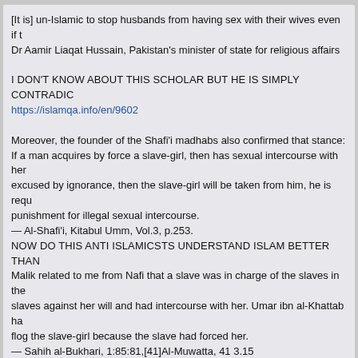[It is] un-Islamic to stop husbands from having sex with their wives even if th... Dr Aamir Liaqat Hussain, Pakistan's minister of state for religious affairs
I DON'T KNOW ABOUT THIS SCHOLAR BUT HE IS SIMPLY CONTRADIC... https://islamqa.info/en/9602
Moreover, the founder of the Shafi'i madhabs also confirmed that stance: If a man acquires by force a slave-girl, then has sexual intercourse with her... excused by ignorance, then the slave-girl will be taken from him, he is requ... punishment for illegal sexual intercourse. — Al-Shafi'i, Kitabul Umm, Vol.3, p.253. NOW DO THIS ANTI ISLAMICSTS UNDERSTAND ISLAM BETTER THAN... Malik related to me from Nafi that a slave was in charge of the slaves in the... slaves against her will and had intercourse with her. Umar ibn al-Khattab ha... flog the slave-girl because the slave had forced her. — Sahih al-Bukhari, 1:85:81,[41]Al-Muwatta, 41 3.15 HOW COME SUCH A MINIATURE SCHOLAR FORGOT ABOUT IMAM SH... SON OF THE COMPANION OF PROPHET MUHMMAD (SWS)
26
GENERAL TOPICS | BOARD ANNOUNCEMENTS / Was Prophe...
« on: December 08, 2016, 08:00:29 PM »
There are some wild scratched claims that Prophet Muhmaad ( sws ) was...